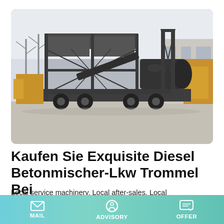[Figure (photo): A large mobile concrete mixer / batching plant machine on wheels, with a dark grey steel frame structure and aggregate bins on the left, and a drum mixer on the right, parked in an outdoor yard. Other yellow construction equipment visible in background.]
Kaufen Sie Exquisite Diesel Betonmischer-Lkw Trommel Bei
Local service machinery. Local after-sales. Local demonstration. Holen Sie sich bei diesel betonmischer-lkw trommel eine höhere Produktivität und Effizienz bei...
MAIL   ADVISORY   OFFER